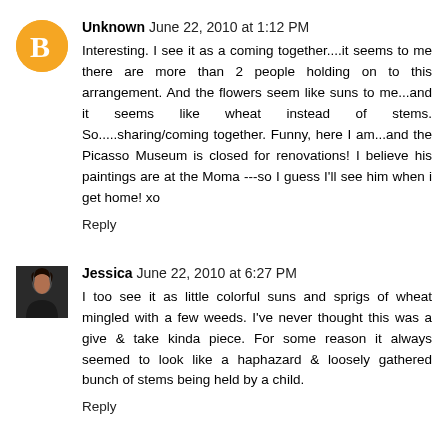Unknown June 22, 2010 at 1:12 PM
Interesting. I see it as a coming together....it seems to me there are more than 2 people holding on to this arrangement. And the flowers seem like suns to me...and it seems like wheat instead of stems. So.....sharing/coming together. Funny, here I am...and the Picasso Museum is closed for renovations! I believe his paintings are at the Moma ---so I guess I'll see him when i get home! xo
Reply
Jessica June 22, 2010 at 6:27 PM
I too see it as little colorful suns and sprigs of wheat mingled with a few weeds. I've never thought this was a give & take kinda piece. For some reason it always seemed to look like a haphazard & loosely gathered bunch of stems being held by a child.
Reply